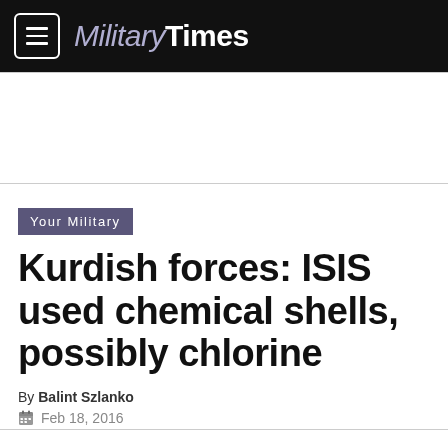Military Times
Your Military
Kurdish forces: ISIS used chemical shells, possibly chlorine
By Balint Szlanko
Feb 18, 2016